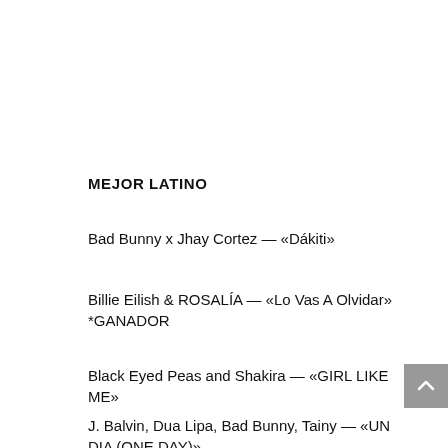MEJOR LATINO
Bad Bunny x Jhay Cortez — «Dákiti»
Billie Eilish & ROSALÍA — «Lo Vas A Olvidar» *GANADOR
Black Eyed Peas and Shakira — «GIRL LIKE ME»
J. Balvin, Dua Lipa, Bad Bunny, Tainy — «UN DIA (ONE DAY)»